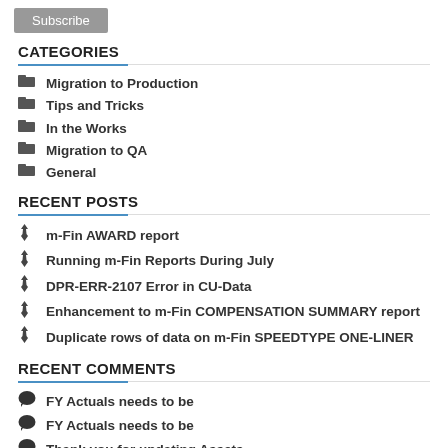Subscribe
CATEGORIES
Migration to Production
Tips and Tricks
In the Works
Migration to QA
General
RECENT POSTS
m-Fin AWARD report
Running m-Fin Reports During July
DPR-ERR-2107 Error in CU-Data
Enhancement to m-Fin COMPENSATION SUMMARY report
Duplicate rows of data on m-Fin SPEEDTYPE ONE-LINER
RECENT COMMENTS
FY Actuals needs to be
FY Actuals needs to be
Thank you for updating Assets